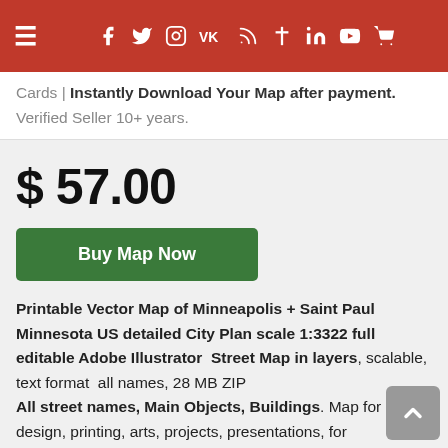Navigation bar with menu and social media icons
Cards | Instantly Download Your Map after payment. Verified Seller 10+ years.
$ 57.00
Buy Map Now
Printable Vector Map of Minneapolis + Saint Paul Minnesota US detailed City Plan scale 1:3322 full editable Adobe Illustrator  Street Map in layers, scalable, text format  all names, 28 MB ZIP All street names, Main Objects, Buildings. Map for design, printing, arts, projects, presentations, for